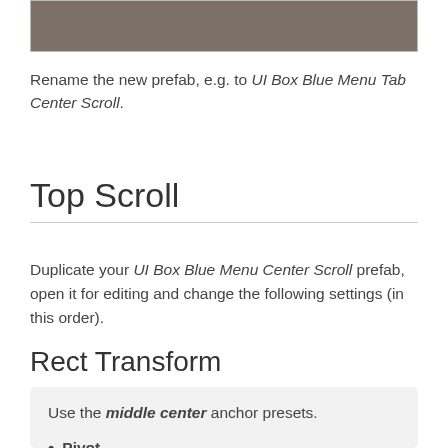[Figure (screenshot): A dark brownish-gray rectangular area at the top of the page, representing a UI screenshot or image placeholder.]
Rename the new prefab, e.g. to UI Box Blue Menu Tab Center Scroll.
Top Scroll
Duplicate your UI Box Blue Menu Center Scroll prefab, open it for editing and change the following settings (in this order).
Rect Transform
Use the middle center anchor presets.
Pivot